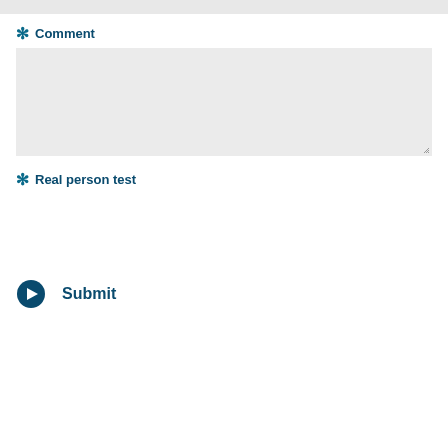[Figure (other): Gray top bar input field (partially visible at top of page)]
* Comment
[Figure (other): Large gray textarea input box for comment entry with resize handle at bottom right]
* Real person test
[Figure (other): CAPTCHA / real person test widget area (blank)]
Submit